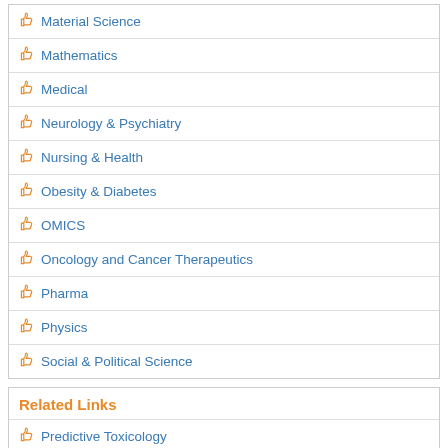Material Science
Mathematics
Medical
Neurology & Psychiatry
Nursing & Health
Obesity & Diabetes
OMICS
Oncology and Cancer Therapeutics
Pharma
Physics
Social & Political Science
Related Links
Predictive Toxicology
Toxicity Studies
Toxicity Testing